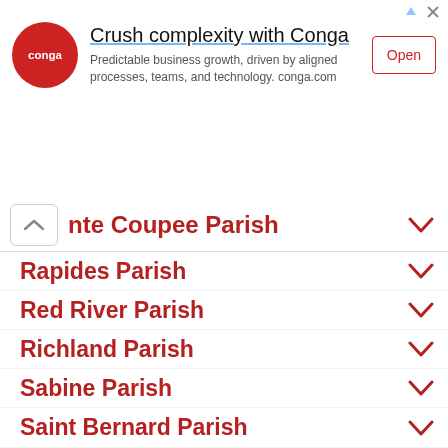[Figure (screenshot): Advertisement banner for Conga: red circle logo with 'conga' text, headline 'Crush complexity with Conga', subtext 'Predictable business growth, driven by aligned processes, teams, and technology. conga.com', and an 'Open' button with red border.]
Pointe Coupee Parish
Rapides Parish
Red River Parish
Richland Parish
Sabine Parish
Saint Bernard Parish
Saint Charles Parish
Saint Helena Parish
Saint James Parish
Saint Landry Parish